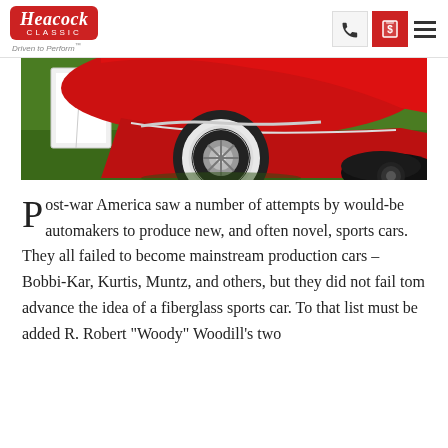Heacock Classic — Driven to Perform™
[Figure (photo): Close-up photograph of the front wheel and fender of a classic red car with white wall tire, displayed on green grass at a car show. A white display placard is visible to the left, and the bottom of another dark-colored car is partially visible at lower right.]
Post-war America saw a number of attempts by would-be automakers to produce new, and often novel, sports cars. They all failed to become mainstream production cars – Bobbi-Kar, Kurtis, Muntz, and others, but they did not fail tom advance the idea of a fiberglass sports car. To that list must be added R. Robert "Woody" Woodill's two